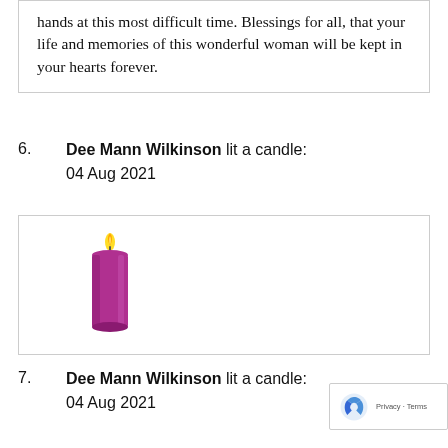hands at this most difficult time. Blessings for all, that your life and memories of this wonderful woman will be kept in your hearts forever.
6.  Dee Mann Wilkinson lit a candle: 04 Aug 2021
[Figure (illustration): A purple pillar candle with a lit flame on top, set inside a bordered box.]
7.  Dee Mann Wilkinson lit a candle: 04 Aug 2021